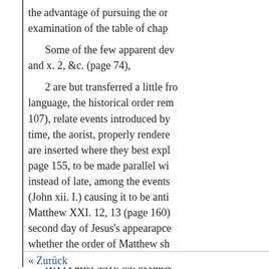the advantage of pursuing the or examination of the table of chap
Some of the few apparent dev and x. 2, &c. (page 74),
2 are but transferred a little fro language, the historical order rem 107), relate events introduced by time, the aorist, properly rendere are inserted where they best expl page 155, to be made parallel wi instead of late, among the events (John xii. I.) causing it to be anti Matthew XXI. 12, 13 (page 160) second day of Jesus's appearance whether the order of Matthew sh
XXVI after xxvi. 35, because other disposition of it, with its pa inconvenient chasm in the langu.
* This, however, is a much ag unctions, others understanding th
« Zurück